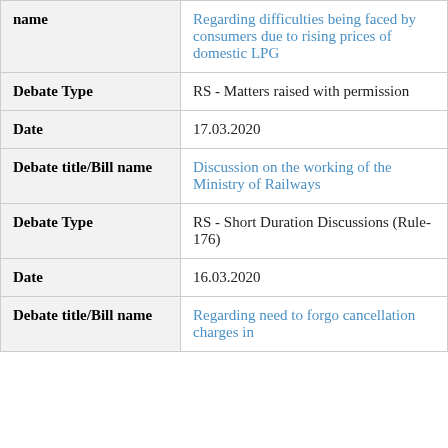| Debate title/Bill name | Regarding difficulties being faced by consumers due to rising prices of domestic LPG |
| Debate Type | RS - Matters raised with permission |
| Date | 17.03.2020 |
| Debate title/Bill name | Discussion on the working of the Ministry of Railways |
| Debate Type | RS - Short Duration Discussions (Rule-176) |
| Date | 16.03.2020 |
| Debate title/Bill name | Regarding need to forgo cancellation charges in |